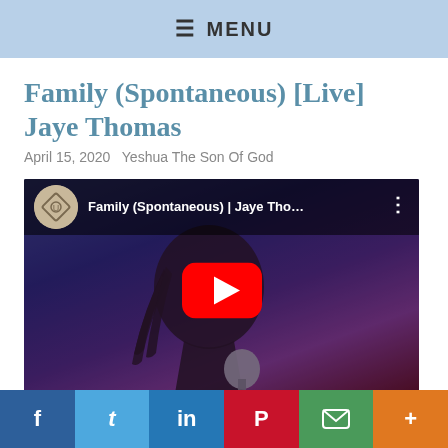≡ MENU
Family (Spontaneous) [Live] Jaye Thomas
April 15, 2020   Yeshua The Son Of God
[Figure (screenshot): YouTube video embed showing 'Family (Spontaneous) | Jaye Tho...' with a channel icon, video title, three-dot menu, and a red YouTube play button over a dark concert background of a man singing into a microphone.]
f  t  in  P  mail  +